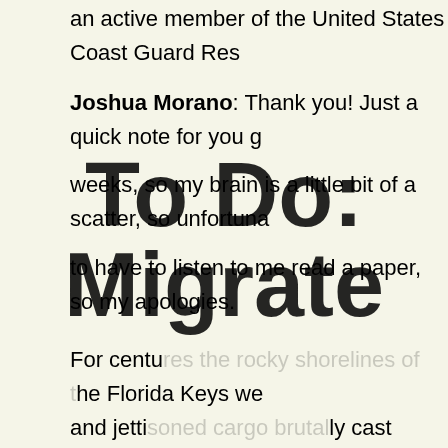an active member of the United States Coast Guard Res
Joshua Morano: Thank you! Just a quick note for you g weeks, so my brain is a little bit of a scatter, so unfortuna to have to listen to me read a paper, so my apologies.
For centuries the rocky shorelines of the Florida Keys we and jettisoned cargo brutally cast ashore after meeting th foundering upon the high seas often mean imminent dea for any assistance. Since vessels first explored the area, Keys and Bahamas, often simply referred to as the Strai
The unpredictable nature of the Gulf Stream combined w combination as the reefs along the southeastern coastlin vessels. As such, the rocky reefs and isolated islets of th